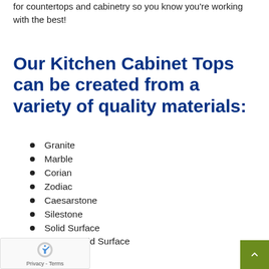for countertops and cabinetry so you know you're working with the best!
Our Kitchen Cabinet Tops can be created from a variety of quality materials:
Granite
Marble
Corian
Zodiac
Caesarstone
Silestone
Solid Surface
Acrylic Solid Surface